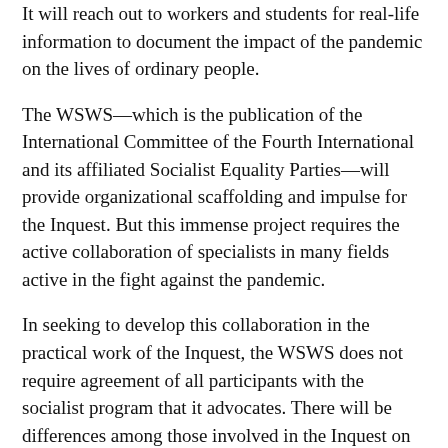It will reach out to workers and students for real-life information to document the impact of the pandemic on the lives of ordinary people.
The WSWS—which is the publication of the International Committee of the Fourth International and its affiliated Socialist Equality Parties—will provide organizational scaffolding and impulse for the Inquest. But this immense project requires the active collaboration of specialists in many fields active in the fight against the pandemic.
In seeking to develop this collaboration in the practical work of the Inquest, the WSWS does not require agreement of all participants with the socialist program that it advocates. There will be differences among those involved in the Inquest on the best forms of political, social and economic organization of future society. But this collaboration will require among its participants an unyielding commitment to scientific truth, the